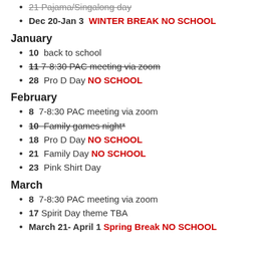21  Pajama/Singalong day
Dec 20-Jan 3  WINTER BREAK NO SCHOOL
January
10  back to school
11 7-8:30 PAC meeting via zoom (strikethrough)
28  Pro D Day NO SCHOOL
February
8  7-8:30 PAC meeting via zoom
10  Family games night* (strikethrough)
18  Pro D Day NO SCHOOL
21  Family Day NO SCHOOL
23  Pink Shirt Day
March
8  7-8:30 PAC meeting via zoom
17  Spirit Day theme TBA
March 21- April 1  Spring Break NO SCHOOL